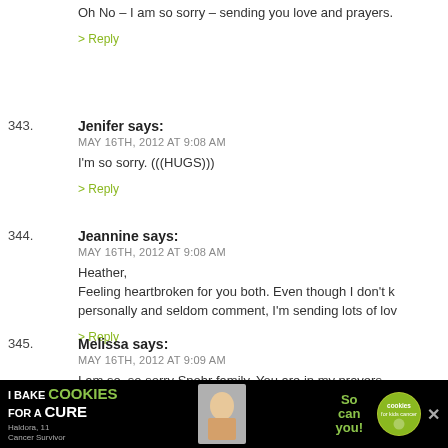Oh No – I am so sorry – sending you love and prayers.
> Reply
343. Jenifer says: MAY 16TH, 2012 AT 9:08 AM — I'm so sorry. (((HUGS)))
> Reply
344. Jeannine says: MAY 16TH, 2012 AT 9:08 AM — Heather, Feeling heartbroken for you both. Even though I don't k personally and seldom comment, I'm sending lots of lov
> Reply
345. Melissa says: MAY 16TH, 2012 AT 9:09 AM — I am so, so sorry Spohr family. You are in my prayers.
[Figure (infographic): Advertisement banner: 'I Bake COOKIES For A CURE' with Haldora, 11 Cancer Survivor and 'So can you!' with cookies for kids cancer badge]